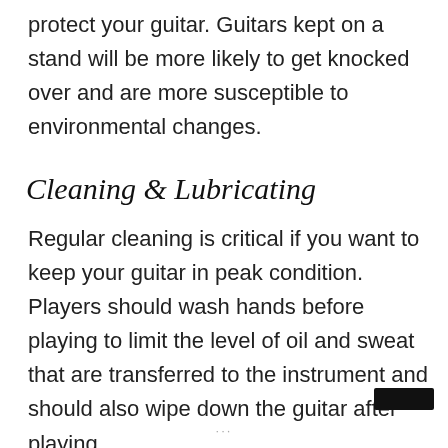protect your guitar. Guitars kept on a stand will be more likely to get knocked over and are more susceptible to environmental changes.
Cleaning & Lubricating
Regular cleaning is critical if you want to keep your guitar in peak condition. Players should wash hands before playing to limit the level of oil and sweat that are transferred to the instrument and should also wipe down the guitar after playing.